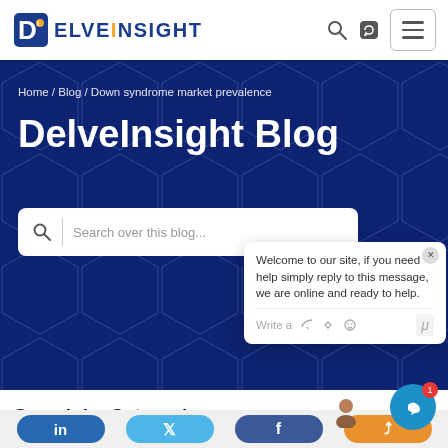[Figure (logo): DelveInsight logo with stylized D and i icon in blue and orange/yellow]
Home / Blog / Down syndrome market prevalence
DelveInsight Blog
Search over this blog...
Welcome to our site, if you need help simply reply to this message, we are online and ready to help.
Search by Categories